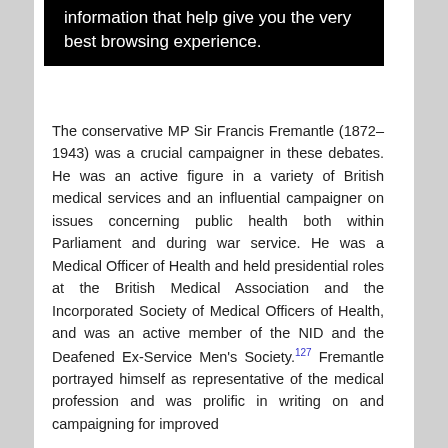[Figure (screenshot): Black banner/tooltip with white text: 'information that help give you the very best browsing experience.']
The conservative MP Sir Francis Fremantle (1872–1943) was a crucial campaigner in these debates. He was an active figure in a variety of British medical services and an influential campaigner on issues concerning public health both within Parliament and during war service. He was a Medical Officer of Health and held presidential roles at the British Medical Association and the Incorporated Society of Medical Officers of Health, and was an active member of the NID and the Deafened Ex-Service Men's Society.127 Fremantle portrayed himself as representative of the medical profession and was prolific in writing on and campaigning for improved